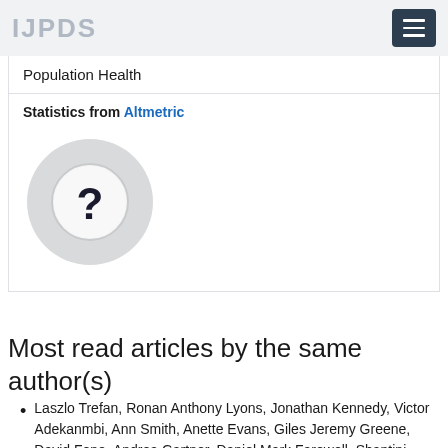IJPDS
Population Health
Statistics from Altmetric
[Figure (other): Altmetric donut badge placeholder with question mark, indicating no Altmetric score available yet]
Most read articles by the same author(s)
Laszlo Trefan, Ronan Anthony Lyons, Jonathan Kennedy, Victor Adekanmbi, Ann Smith, Anette Evans, Giles Jeremy Greene, David Fone, Andrea Gartner, Daniel Mark Farewell, Shantini Paranjothy